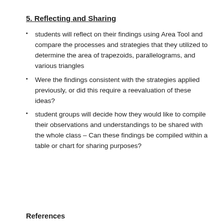5. Reflecting and Sharing
students will reflect on their findings using Area Tool and compare the processes and strategies that they utilized to determine the area of trapezoids, parallelograms, and various triangles
Were the findings consistent with the strategies applied previously, or did this require a reevaluation of these ideas?
student groups will decide how they would like to compile their observations and understandings to be shared with the whole class – Can these findings be compiled within a table or chart for sharing purposes?
References